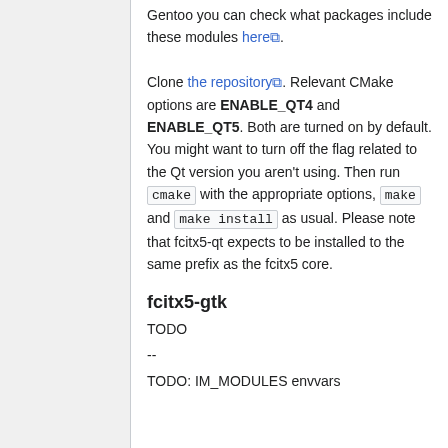Gentoo you can check what packages include these modules here. Clone the repository. Relevant CMake options are ENABLE_QT4 and ENABLE_QT5. Both are turned on by default. You might want to turn off the flag related to the Qt version you aren't using. Then run cmake with the appropriate options, make and make install as usual. Please note that fcitx5-qt expects to be installed to the same prefix as the fcitx5 core.
fcitx5-gtk
TODO
--
TODO: IM_MODULES envvars